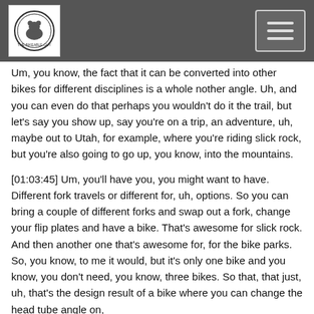[logo and navigation menu]
Um, you know, the fact that it can be converted into other bikes for different disciplines is a whole nother angle. Uh, and you can even do that perhaps you wouldn't do it the trail, but let's say you show up, say you're on a trip, an adventure, uh, maybe out to Utah, for example, where you're riding slick rock, but you're also going to go up, you know, into the mountains.
[01:03:45] Um, you'll have you, you might want to have. Different fork travels or different for, uh, options. So you can bring a couple of different forks and swap out a fork, change your flip plates and have a bike. That's awesome for slick rock. And then another one that's awesome for, for the bike parks. So, you know, to me it would, but it's only one bike and you know, you don't need, you know, three bikes. So that, that just, uh, that's the design result of a bike where you can change the head tube angle on,
[01:04:21] Randall: and the, in really how much head tube angle adjustment is there on there.
[01:04:25] Craig Calfee: uh, it's a or minus four degrees
[01:04:28] Randall: that's, that's substantial.